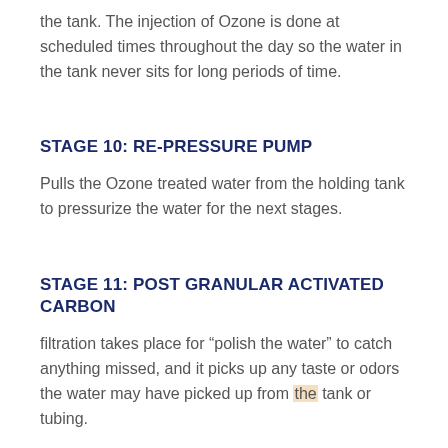the tank. The injection of Ozone is done at scheduled times throughout the day so the water in the tank never sits for long periods of time.
STAGE 10: RE-PRESSURE PUMP
Pulls the Ozone treated water from the holding tank to pressurize the water for the next stages.
STAGE 11: POST GRANULAR ACTIVATED CARBON
filtration takes place for “polish the water” to catch anything missed, and it picks up any taste or odors the water may have picked up from the tank or tubing.